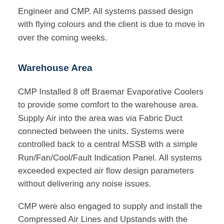Engineer and CMP. All systems passed design with flying colours and the client is due to move in over the coming weeks.
Warehouse Area
CMP Installed 8 off Braemar Evaporative Coolers to provide some comfort to the warehouse area. Supply Air into the area was via Fabric Duct connected between the units. Systems were controlled back to a central MSSB with a simple Run/Fan/Cool/Fault Indication Panel. All systems exceeded expected air flow design parameters without delivering any noise issues.
CMP were also engaged to supply and install the Compressed Air Lines and Upstands with the lines required to be run underground due to the above head Gantry Crane. This added challenges early in the